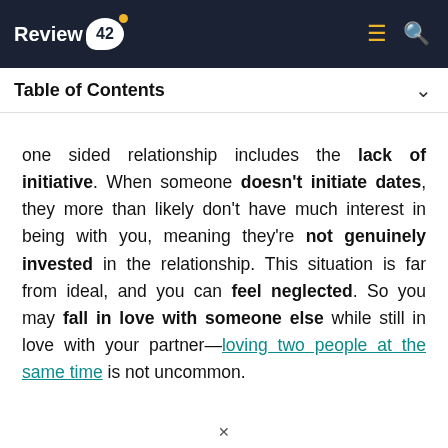Review42
Table of Contents
one sided relationship includes the lack of initiative. When someone doesn't initiate dates, they more than likely don't have much interest in being with you, meaning they're not genuinely invested in the relationship. This situation is far from ideal, and you can feel neglected. So you may fall in love with someone else while still in love with your partner—loving two people at the same time is not uncommon.